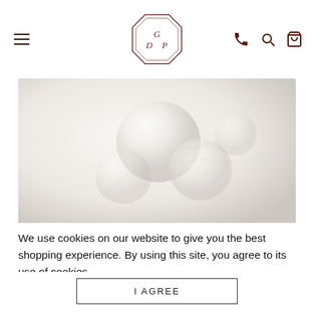Navigation header with hamburger menu, GDP logo (octagon), phone, search, and bag icons
[Figure (photo): Close-up photo of cultured Akoya pearls on a light background, soft white and cream tones]
ALL ABOUT CULTURED AKOYA PEARLS PART 2
We use cookies on our website to give you the best shopping experience. By using this site, you agree to its use of cookies.
I AGREE